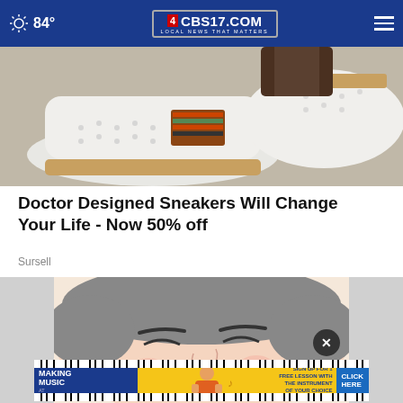84° CBS17.COM LOCAL NEWS THAT MATTERS
[Figure (photo): Close-up photo of white slip-on sneakers with perforated leather upper, striped elastic band in brown/red/green, and tan rubber sole with decorative stitching, worn on a person's feet]
Doctor Designed Sneakers Will Change Your Life - Now 50% off
Sursell
[Figure (illustration): Illustrated/cartoon image of a person lying down with eyes closed, shown from a close-up angle on their face]
[Figure (photo): Advertisement banner: START MAKING MUSIC AT The Musicians Learning Center. SIGN UP FOR 1 FREE LESSON WITH THE INSTRUMENT OF YOUR CHOICE. CLICK HERE]